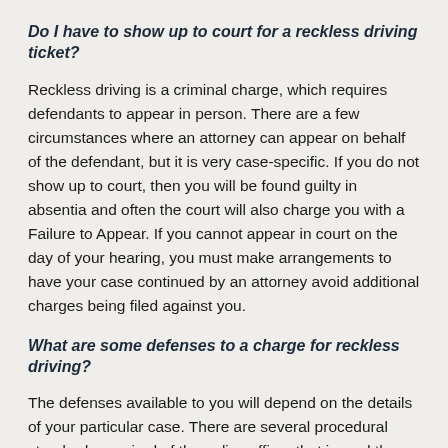Do I have to show up to court for a reckless driving ticket?
Reckless driving is a criminal charge, which requires defendants to appear in person. There are a few circumstances where an attorney can appear on behalf of the defendant, but it is very case-specific. If you do not show up to court, then you will be found guilty in absentia and often the court will also charge you with a Failure to Appear. If you cannot appear in court on the day of your hearing, you must make arrangements to have your case continued by an attorney avoid additional charges being filed against you.
What are some defenses to a charge for reckless driving?
The defenses available to you will depend on the details of your particular case. There are several procedural standards required of the police officer that issued the charge. For example, the court may also like to the in environment within